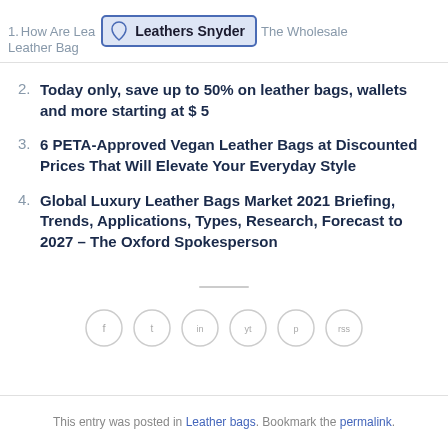1. How Are Leather... Leathers Snyder ...The Wholesale Leather Bag...
2. Today only, save up to 50% on leather bags, wallets and more starting at $ 5
3. 6 PETA-Approved Vegan Leather Bags at Discounted Prices That Will Elevate Your Everyday Style
4. Global Luxury Leather Bags Market 2021 Briefing, Trends, Applications, Types, Research, Forecast to 2027 – The Oxford Spokesperson
[Figure (other): Row of 6 social media icon circles (grey outlines)]
This entry was posted in Leather bags. Bookmark the permalink.